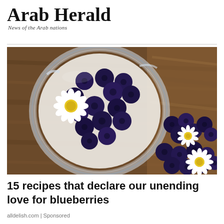Arab Herald — News of the Arab nations
[Figure (photo): Overhead view of a glass bowl filled with fresh blueberries and a white daisy flower, surrounded by more blueberries and daisies on a rustic wooden surface]
15 recipes that declare our unending love for blueberries
alldelish.com | Sponsored